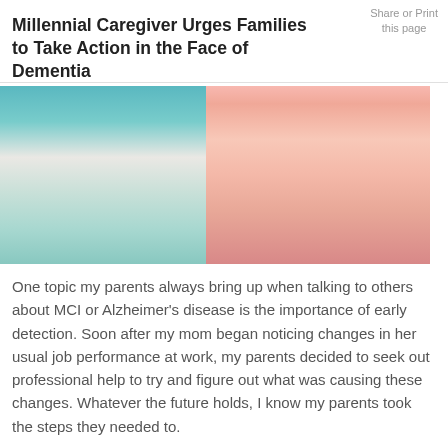Share or Print this page
Millennial Caregiver Urges Families to Take Action in the Face of Dementia
[Figure (photo): Two women side by side — one wearing a teal/white striped top (younger, long blonde hair), one wearing a pink blouse (older). Appears to be a mother-daughter photo outdoors.]
One topic my parents always bring up when talking to others about MCI or Alzheimer's disease is the importance of early detection. Soon after my mom began noticing changes in her usual job performance at work, my parents decided to seek out professional help to try and figure out what was causing these changes. Whatever the future holds, I know my parents took the steps they needed to.